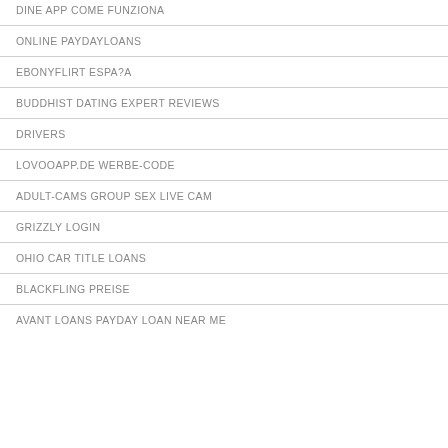DINE APP COME FUNZIONA
ONLINE PAYDAYLOANS
EBONYFLIRT ESPA?A
BUDDHIST DATING EXPERT REVIEWS
DRIVERS
LOVOOAPP.DE WERBE-CODE
ADULT-CAMS GROUP SEX LIVE CAM
GRIZZLY LOGIN
OHIO CAR TITLE LOANS
BLACKFLING PREISE
AVANT LOANS PAYDAY LOAN NEAR ME